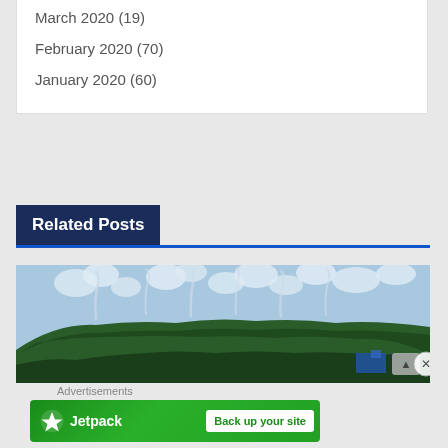March 2020 (19)
February 2020 (70)
January 2020 (60)
Related Posts
[Figure (photo): Landscape photograph showing a forested hillside under a cloudy sky, with what appears to be industrial or agricultural activity visible at the base of the hill.]
Advertisements
[Figure (logo): Jetpack advertisement banner with green background showing Jetpack logo and 'Back up your site' button]